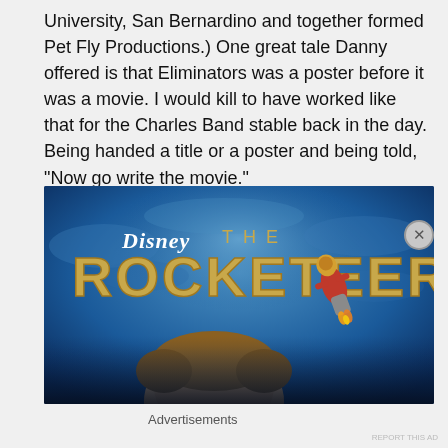University, San Bernardino and together formed Pet Fly Productions.) One great tale Danny offered is that Eliminators was a poster before it was a movie. I would kill to have worked like that for the Charles Band stable back in the day. Being handed a title or a poster and being told, “Now go write the movie.”
[Figure (photo): Disney The Rocketeer movie poster/banner showing the title text in gold art deco style against a blue background, with a person's face below and a small rocketeer character flying in the upper right.]
Advertisements